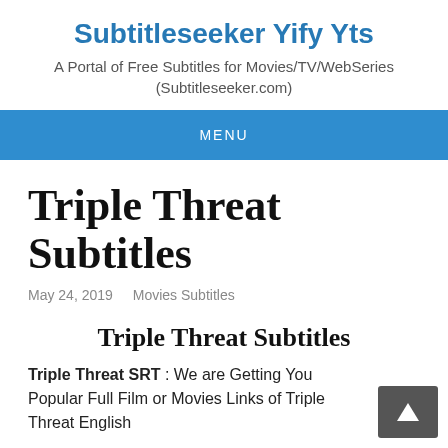Subtitleseeker Yify Yts
A Portal of Free Subtitles for Movies/TV/WebSeries (Subtitleseeker.com)
MENU
Triple Threat Subtitles
May 24, 2019   Movies Subtitles
Triple Threat Subtitles
Triple Threat SRT : We are Getting You Popular Full Film or Movies Links of Triple Threat English